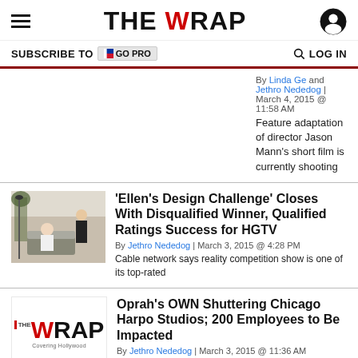THE WRAP
SUBSCRIBE TO GO PRO    LOG IN
By Linda Ge and Jethro Nededog | March 4, 2015 @ 11:58 AM
Feature adaptation of director Jason Mann's short film is currently shooting
[Figure (photo): Indoor scene with people sitting and standing in a living room setting]
'Ellen's Design Challenge' Closes With Disqualified Winner, Qualified Ratings Success for HGTV
By Jethro Nededog | March 3, 2015 @ 4:28 PM
Cable network says reality competition show is one of its top-rated
[Figure (logo): The Wrap logo - Covering Hollywood]
Oprah's OWN Shuttering Chicago Harpo Studios; 200 Employees to Be Impacted
By Jethro Nededog | March 3, 2015 @ 11:36 AM